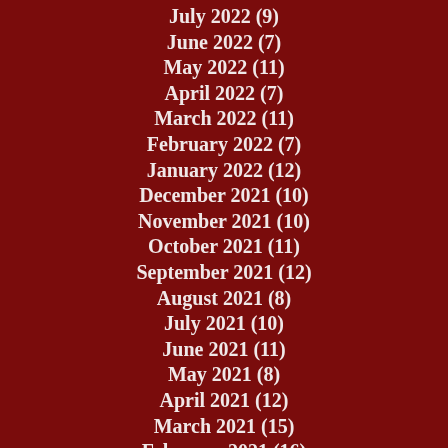July 2022 (9)
June 2022 (7)
May 2022 (11)
April 2022 (7)
March 2022 (11)
February 2022 (7)
January 2022 (12)
December 2021 (10)
November 2021 (10)
October 2021 (11)
September 2021 (12)
August 2021 (8)
July 2021 (10)
June 2021 (11)
May 2021 (8)
April 2021 (12)
March 2021 (15)
February 2021 (16)
January 2021 (14)